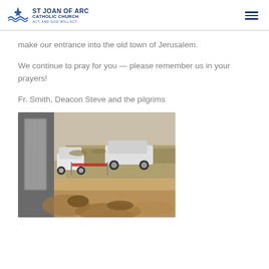St Joan of Arc Catholic Church — Act, and God will Act
make our entrance into the old town of Jerusalem.
We continue to pray for you — please remember us in your prayers!
Fr. Smith, Deacon Steve and the pilgrims
[Figure (photo): View from inside a vehicle window showing parked cars and sandy/muddy terrain, appearing to be a road or area in the Middle East.]